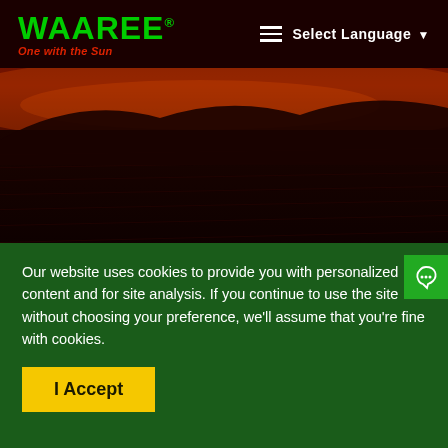WAAREE® One with the Sun | Select Language
[Figure (photo): Dark aerial photo of solar panels at sunset/dusk with a reddish-orange sky horizon]
Our website uses cookies to provide you with personalized content and for site analysis. If you continue to use the site without choosing your preference, we'll assume that you're fine with cookies.
I Accept